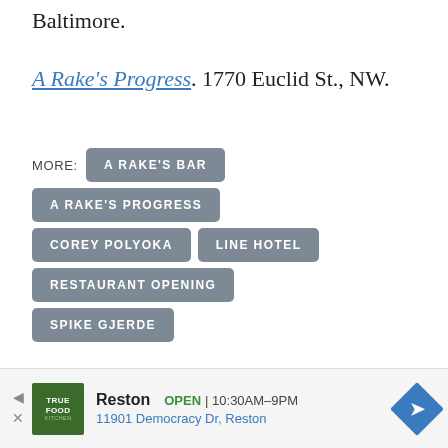Baltimore.
A Rake's Progress. 1770 Euclid St., NW.
MORE: A RAKE'S BAR, A RAKE'S PROGRESS, COREY POLYOKA, LINE HOTEL, RESTAURANT OPENING, SPIKE GJERDE
Join the conversation!
[Figure (other): Advertisement for True Food Kitchen in Reston. Shows logo, open status, hours 10:30AM-9PM, address 11901 Democracy Dr, Reston, and a navigation arrow.]